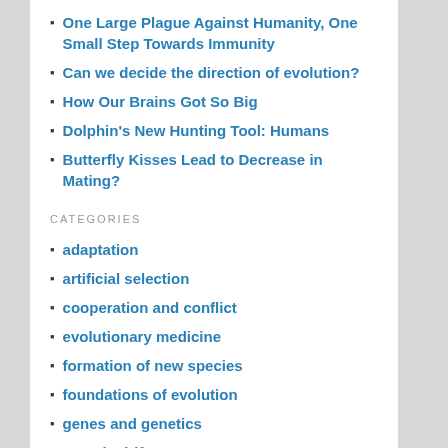One Large Plague Against Humanity, One Small Step Towards Immunity
Can we decide the direction of evolution?
How Our Brains Got So Big
Dolphin's New Hunting Tool: Humans
Butterfly Kisses Lead to Decrease in Mating?
CATEGORIES
adaptation
artificial selection
cooperation and conflict
evolutionary medicine
formation of new species
foundations of evolution
genes and genetics
genetic drift
genomics
human evolution
kin selection
phylogenetics
selection in action